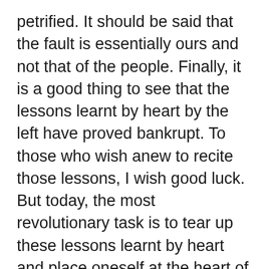petrified. It should be said that the fault is essentially ours and not that of the people. Finally, it is a good thing to see that the lessons learnt by heart by the left have proved bankrupt. To those who wish anew to recite those lessons, I wish good luck. But today, the most revolutionary task is to tear up these lessons learnt by heart and place oneself at the heart of life itself. If the left has entered into a coma, it is not those who put it in that condition who will bring it out again. It is necessary to give way to youth. It is necessary also to renew the Ã–DP fundamentally... For